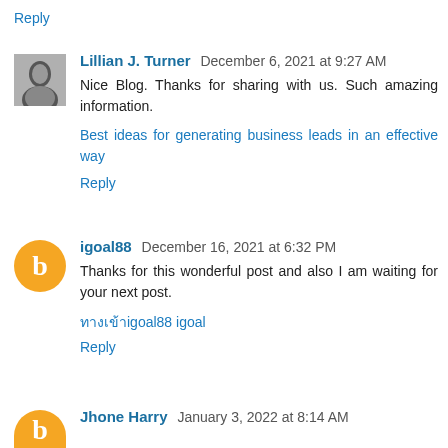Reply
Lillian J. Turner  December 6, 2021 at 9:27 AM
Nice Blog. Thanks for sharing with us. Such amazing information.
Best ideas for generating business leads in an effective way
Reply
igoal88  December 16, 2021 at 6:32 PM
Thanks for this wonderful post and also I am waiting for your next post.
ทางเข้าigoal88 igoal
Reply
Jhone Harry  January 3, 2022 at 8:14 AM